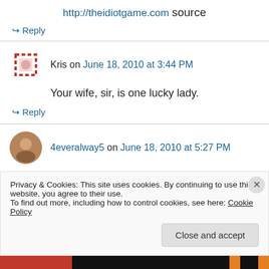http://theidiotgame.com source
↳ Reply
Kris on June 18, 2010 at 3:44 PM
Your wife, sir, is one lucky lady.
↳ Reply
4everalway5 on June 18, 2010 at 5:27 PM
Privacy & Cookies: This site uses cookies. By continuing to use this website, you agree to their use. To find out more, including how to control cookies, see here: Cookie Policy
Close and accept